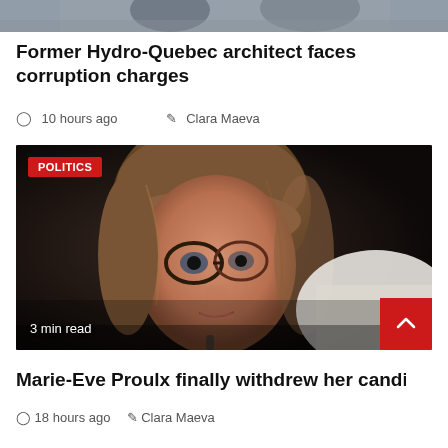[Figure (photo): Partial top portion of a news photo, showing two people in background, cropped.]
Former Hydro-Quebec architect faces corruption charges
10 hours ago  Clara Maeva
[Figure (photo): Close-up photo of a woman with glasses and brown hair. A red POLITICS badge is overlaid at top-left. A '3 min read' label is at bottom-left. A red scroll-to-top button is at bottom-right.]
Marie-Eve Proulx finally withdrew her candida…
18 hours ago  Clara Maeva